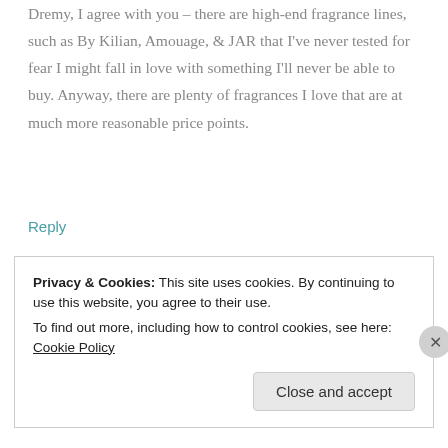Dremy, I agree with you – there are high-end fragrance lines, such as By Kilian, Amouage, & JAR that I've never tested for fear I might fall in love with something I'll never be able to buy. Anyway, there are plenty of fragrances I love that are at much more reasonable price points.
Reply
[Figure (illustration): Perfume bottle icon — hexagonal bottle outline with stopper lines on top, minimalist line art in black]
Ari
MAY 18, 2012 AT 4:37 PM
Privacy & Cookies: This site uses cookies. By continuing to use this website, you agree to their use. To find out more, including how to control cookies, see here: Cookie Policy
Close and accept